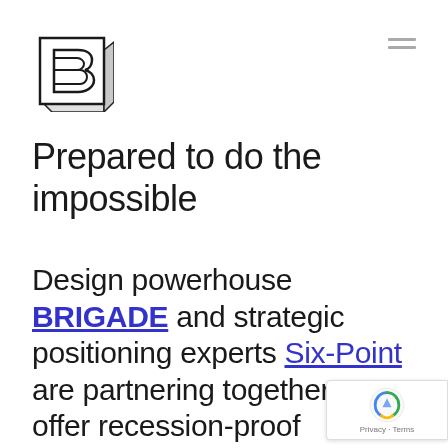[Figure (logo): Brigade logo — stylized letter B in a bold geometric outline with a 3D block base effect, black lines on white]
Prepared to do the impossible
Design powerhouse BRIGADE and strategic positioning experts Six-Point are partnering together to offer recession-proof solutions to growth-oriented brands. Our two